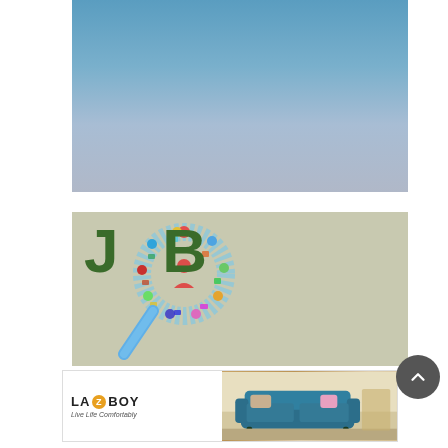[Figure (photo): Sky photo with gradient from blue at top to grey-blue at bottom]
[Figure (illustration): Job search concept image with large green 'JOB' text and a magnifying glass made of colorful icons on a beige/grey background]
[Figure (photo): La-Z-Boy advertisement banner showing logo on left and a teal/blue sofa on right with tagline 'Live Life Comfortably']